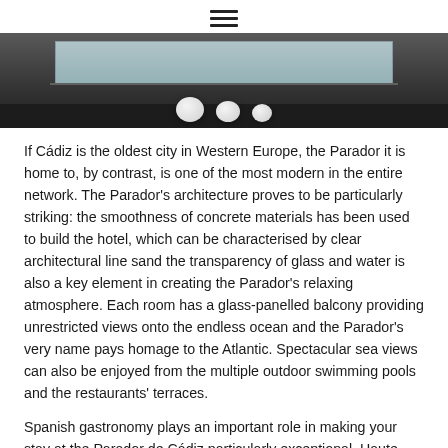≡
[Figure (photo): Interior spa or pool area of a modern hotel with dark wood floors, a rectangular pool or bath with blue water, and rounded white orb-shaped objects in the foreground.]
If Cádiz is the oldest city in Western Europe, the Parador it is home to, by contrast, is one of the most modern in the entire network. The Parador's architecture proves to be particularly striking: the smoothness of concrete materials has been used to build the hotel, which can be characterised by clear architectural line sand the transparency of glass and water is also a key element in creating the Parador's relaxing atmosphere. Each room has a glass-panelled balcony providing unrestricted views onto the endless ocean and the Parador's very name pays homage to the Atlantic. Spectacular sea views can also be enjoyed from the multiple outdoor swimming pools and the restaurants' terraces.
Spanish gastronomy plays an important role in making your stay at the Parador de Cádiz particularly exceptional. Haute cuisine is served at the hotel's three restaurants, and